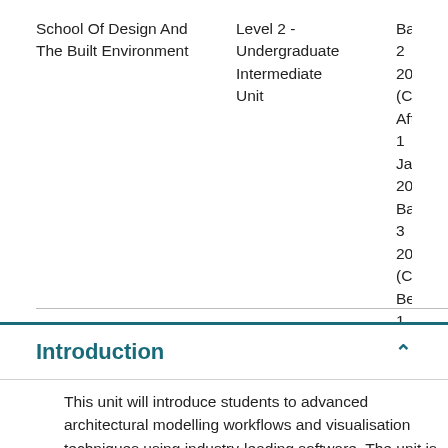School Of Design And The Built Environment
Level 2 - Undergraduate Intermediate Unit
Band 2 20 (Commen After 1 Ja 2021) Band 3 20 (Commen Before 1 . 2021)
Introduction
This unit will introduce students to advanced architectural modelling workflows and visualisation techniques using industry-leading software. The unit is delivered through incremental project-based tasks that